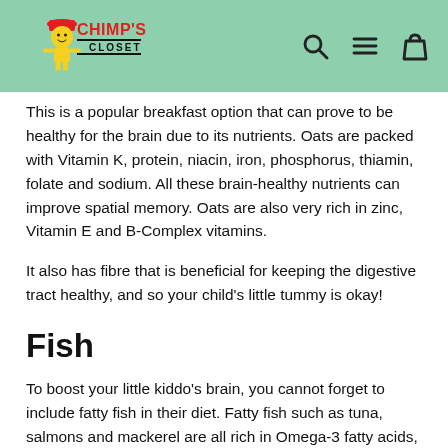[Figure (logo): Chimp's Closet logo with colorful cartoon character]
This is a popular breakfast option that can prove to be healthy for the brain due to its nutrients. Oats are packed with Vitamin K, protein, niacin, iron, phosphorus, thiamin, folate and sodium. All these brain-healthy nutrients can improve spatial memory. Oats are also very rich in zinc, Vitamin E and B-Complex vitamins.
It also has fibre that is beneficial for keeping the digestive tract healthy, and so your child's little tummy is okay!
Fish
To boost your little kiddo's brain, you cannot forget to include fatty fish in their diet. Fatty fish such as tuna, salmons and mackerel are all rich in Omega-3 fatty acids, which is